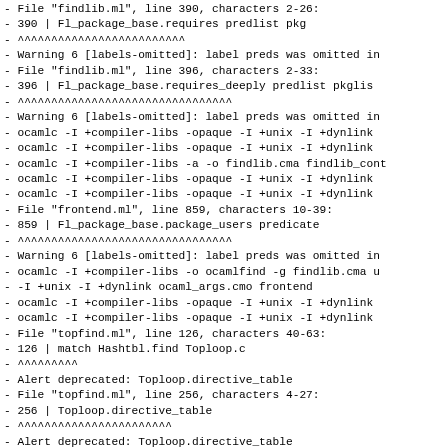- File "findlib.ml", line 390, characters 2-26:
- 390 |    Fl_package_base.requires predlist pkg
-          ^^^^^^^^^^^^^^^^^^^^^^^^^
- Warning 6 [labels-omitted]: label preds was omitted in
- File "findlib.ml", line 396, characters 2-33:
- 396 |    Fl_package_base.requires_deeply predlist pkglis
-          ^^^^^^^^^^^^^^^^^^^^^^^^^^^^^^^^
- Warning 6 [labels-omitted]: label preds was omitted in
- ocamlc -I +compiler-libs -opaque    -I +unix -I +dynlink
- ocamlc -I +compiler-libs -opaque    -I +unix -I +dynlink
- ocamlc -I +compiler-libs -a -o findlib.cma findlib_cont
- ocamlc -I +compiler-libs -opaque    -I +unix -I +dynlink
- ocamlc -I +compiler-libs -opaque    -I +unix -I +dynlink
- File "frontend.ml", line 859, characters 10-39:
- 859 |             Fl_package_base.package_users predicate
-                  ^^^^^^^^^^^^^^^^^^^^^^^^^^^^^^^^
- Warning 6 [labels-omitted]: label preds was omitted in
- ocamlc -I +compiler-libs  -o ocamlfind -g findlib.cma u
-              -I +unix -I +dynlink ocaml_args.cmo frontend
- ocamlc -I +compiler-libs -opaque    -I +unix -I +dynlink
- ocamlc -I +compiler-libs -opaque    -I +unix -I +dynlink
- File "topfind.ml", line 126, characters 40-63:
- 126 |                    match Hashtbl.find Toploop.c
-                                             ^^^^^^^^^
- Alert deprecated: Toploop.directive_table
- File "topfind.ml", line 256, characters 4-27:
- 256 |    Toploop.directive_table
-          ^^^^^^^^^^^^^^^^^^^^^^^
- Alert deprecated: Toploop.directive_table
- File "topfind.ml", line 266, characters 4-27: